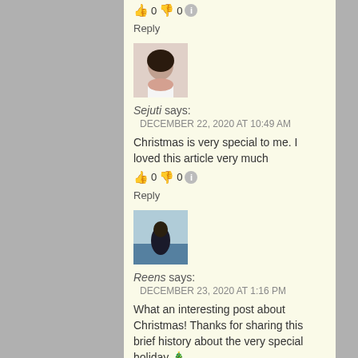👍 0 👎 0 ℹ️
Reply
[Figure (photo): Profile avatar of Sejuti, a woman with dark hair]
Sejuti says:
DECEMBER 22, 2020 AT 10:49 AM
Christmas is very special to me. I loved this article very much
👍 0 👎 0 ℹ️
Reply
[Figure (photo): Profile avatar of Reens, person outdoors near water]
Reens says:
DECEMBER 23, 2020 AT 1:16 PM
What an interesting post about Christmas! Thanks for sharing this brief history about the very special holiday 🎄
👍 0 👎 0 ℹ️
Reply